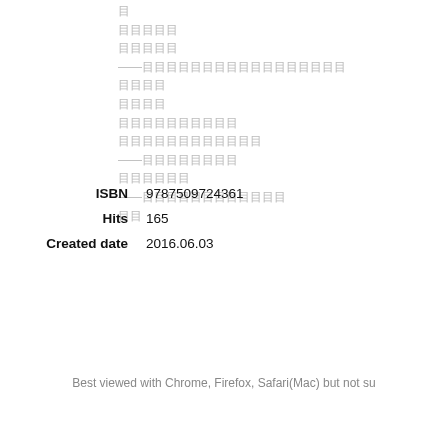目
目目目目
目目目目
——目目目目目目目目目目目目目目
目目目目
目目目目
目目目目目目目目目目
目目目目目目目目目目目目
——目目目目目目目目
目目目目目目
——目目目目目目目目目目目目
目目
ISBN   9787509724361
Hits   165
Created date   2016.06.03
Best viewed with Chrome, Firefox, Safari(Mac) but not su